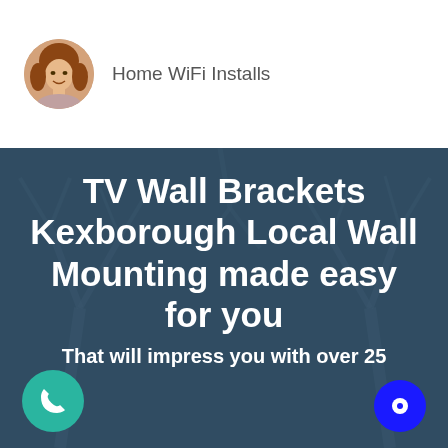[Figure (photo): Circular avatar photo of a woman with brown hair, top nav area]
Home WiFi Installs
TV Wall Brackets Kexborough Local Wall Mounting made easy for you
That will impress you with over 25